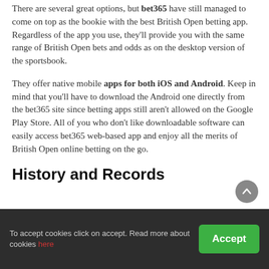There are several great options, but bet365 have still managed to come on top as the bookie with the best British Open betting app. Regardless of the app you use, they'll provide you with the same range of British Open bets and odds as on the desktop version of the sportsbook.
They offer native mobile apps for both iOS and Android. Keep in mind that you'll have to download the Android one directly from the bet365 site since betting apps still aren't allowed on the Google Play Store. All of you who don't like downloadable software can easily access bet365 web-based app and enjoy all the merits of British Open online betting on the go.
History and Records
To accept cookies click on accept. Read more about cookies here